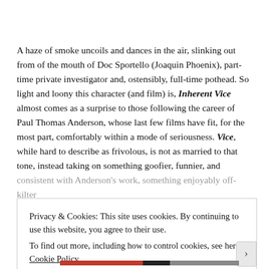A haze of smoke uncoils and dances in the air, slinking out from of the mouth of Doc Sportello (Joaquin Phoenix), part-time private investigator and, ostensibly, full-time pothead. So light and loony this character (and film) is, Inherent Vice almost comes as a surprise to those following the career of Paul Thomas Anderson, whose last few films have fit, for the most part, comfortably within a mode of seriousness. Vice, while hard to describe as frivolous, is not as married to that tone, instead taking on something goofier, funnier, and consistent with Anderson's work, something enjoyably off-kilter
Privacy & Cookies: This site uses cookies. By continuing to use this website, you agree to their use.
To find out more, including how to control cookies, see here: Cookie Policy
Close and accept